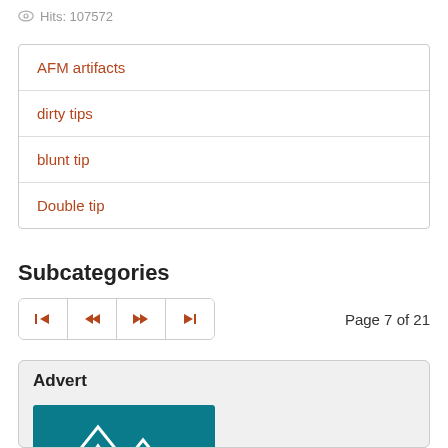Hits: 107572
AFM artifacts
dirty tips
blunt tip
Double tip
Subcategories
Page 7 of 21
Advert
[Figure (logo): Teal/dark-cyan background logo with white mountain/triangle line art and a yellow location pin icon at the bottom]